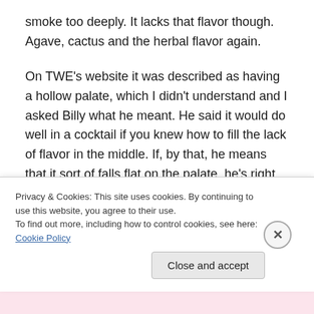smoke too deeply. It lacks that flavor though. Agave, cactus and the herbal flavor again.
On TWE's website it was described as having a hollow palate, which I didn't understand and I asked Billy what he meant. He said it would do well in a cocktail if you knew how to fill the lack of flavor in the middle. If, by that, he means that it sort of falls flat on the palate, he's right.
It's a nice enough drink, but for the money you spend on it I would instantly pick Del Maguey's Vida over this. More so
Privacy & Cookies: This site uses cookies. By continuing to use this website, you agree to their use.
To find out more, including how to control cookies, see here: Cookie Policy